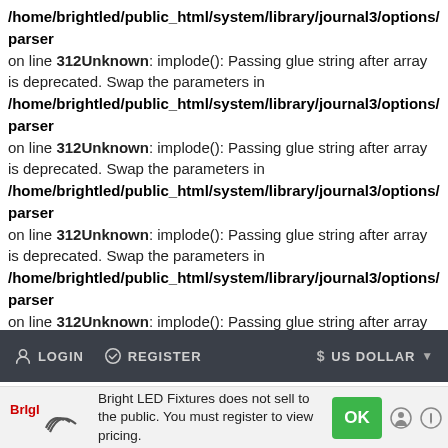/home/brightled/public_html/system/library/journal3/options/parser on line 312Unknown: implode(): Passing glue string after array is deprecated. Swap the parameters in /home/brightled/public_html/system/library/journal3/options/parser on line 312Unknown: implode(): Passing glue string after array is deprecated. Swap the parameters in /home/brightled/public_html/system/library/journal3/options/parser on line 312Unknown: implode(): Passing glue string after array is deprecated. Swap the parameters in /home/brightled/public_html/system/library/journal3/options/parser on line 312Unknown: implode(): Passing glue string after array is deprecated. Swap the parameters in /home/brightled/public_html/system/library/journal3/options/parser on line 312
LOGIN   REGISTER   $ US DOLLAR
Bright LED Fixtures does not sell to the public. You must register to view pricing.